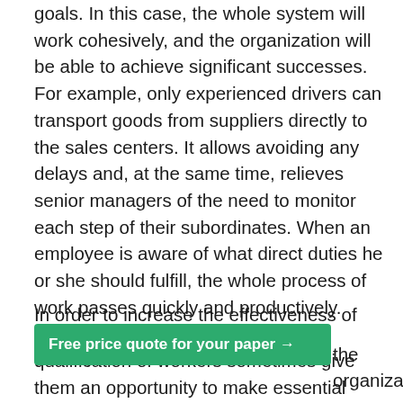should understand their tasks and competently fulfill their goals. In this case, the whole system will work cohesively, and the organization will be able to achieve significant successes. For example, only experienced drivers can transport goods from suppliers directly to the sales centers. It allows avoiding any delays and, at the same time, relieves senior managers of the need to monitor each step of their subordinates. When an employee is aware of what direct duties he or she should fulfill, the whole process of work passes quickly and productively. Moreover, the experience and high qualification of workers sometimes give them an opportunity to make essential decisions independently and grow professionally. It is especially important in conditions of high market tension when the company's success quite often depends on the speed of the work being performed.
In order to increase the effectiveness of the management
the organization
[Figure (other): Green call-to-action banner with text 'Free price quote for your paper →']